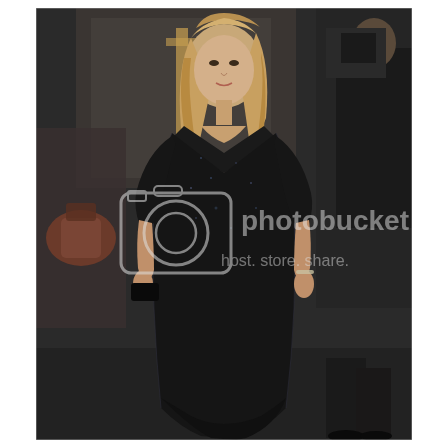[Figure (photo): A woman with long blonde hair wearing a long black sparkly V-neck dress with 3/4 sleeves walks outdoors at what appears to be an event or premiere. Other people are visible in the background. A Photobucket watermark is overlaid on the center of the image reading 'photobucket host. store. share.' with a camera icon.]